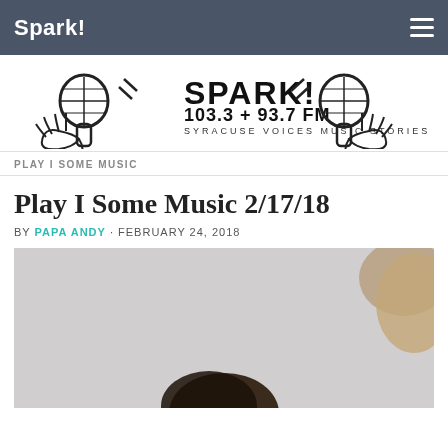Spark!
[Figure (logo): Spark! 103.3 + 93.7 FM Syracuse Voices Music Stories logo with hands holding microphones]
PLAY I SOME MUSIC
Play I Some Music 2/17/18
BY PAPA ANDY · FEBRUARY 24, 2018
[Figure (photo): Photo of a person, partially visible, against a light background]